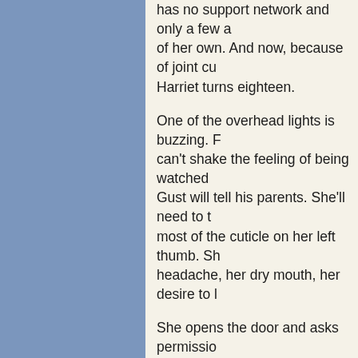has no support network and only a few of her own. And now, because of joint cu... Harriet turns eighteen.
One of the overhead lights is buzzing. F... can't shake the feeling of being watched... Gust will tell his parents. She'll need to t... most of the cuticle on her left thumb. Sh... headache, her dry mouth, her desire to l...
She opens the door and asks permissio... a snack. From the vending machine, she... and a candy bar. She hasn't eaten since... day, her hands have been trembling.
When she returns, the social worker is w... half-eaten candy bar and awkwardly retr... the social worker's taut calves in black c... woman is young and striking, maybe in h... come straight from the gym. She wears... top. A gold cross hangs low above her c... visible through her clothes. Her dyed-blo... ponytail that makes her wide-set eyes lo... skin, but she's wearing a tremendous an... made up with contours and highlights. W...